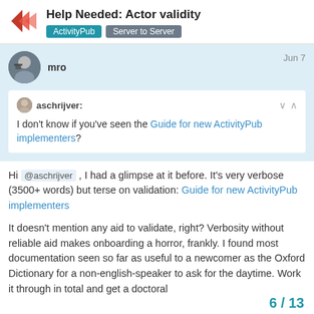Help Needed: Actor validity | ActivityPub | Server to Server
mro  Jun 7
aschrijver: I don't know if you've seen the Guide for new ActivityPub implementers?
Hi @aschrijver , I had a glimpse at it before. It's very verbose (3500+ words) but terse on validation: Guide for new ActivityPub implementers
It doesn't mention any aid to validate, right? Verbosity without reliable aid makes onboarding a horror, frankly. I found most documentation seen so far as useful to a newcomer as the Oxford Dictionary for a non-english-speaker to ask for the daytime. Work it through in total and get a doctoral
6 / 13